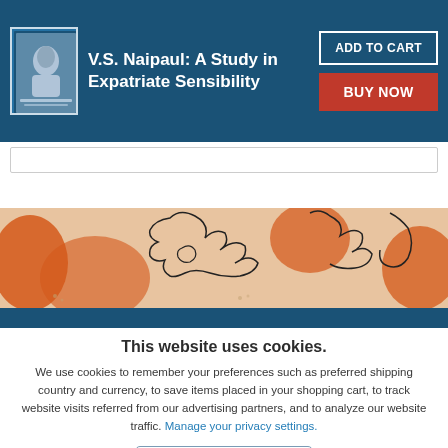V.S. Naipaul: A Study in Expatriate Sensibility
[Figure (photo): Book cover thumbnail for V.S. Naipaul: A Study in Expatriate Sensibility, small book cover image with portrait]
ADD TO CART
BUY NOW
[Figure (illustration): Decorative orange and cream illustration band with abstract line-art figures]
This website uses cookies.
We use cookies to remember your preferences such as preferred shipping country and currency, to save items placed in your shopping cart, to track website visits referred from our advertising partners, and to analyze our website traffic. Manage your privacy settings.
AGREE AND CLOSE